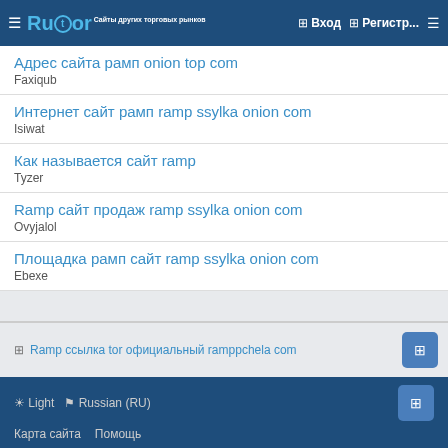Rutor — header navigation with Вход and Регистр...
Адрес сайта рамп onion top com
Faxiqub
Интернет сайт рамп ramp ssylka onion com
Isiwat
Как называется сайт ramp
Tyzer
Ramp сайт продаж ramp ssylka onion com
Ovyjalol
Площадка рамп сайт ramp ssylka onion com
Ebexe
Ramp ссылка tor официальный ramppchela com
☀ Light  ⚑ Russian (RU)  Карта сайта  Помощь